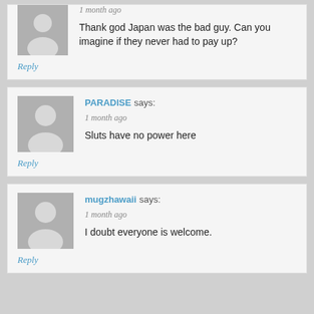1 month ago
Thank god Japan was the bad guy. Can you imagine if they never had to pay up?
Reply
PARADlSE says:
1 month ago
Sluts have no power here
Reply
mugzhawaii says:
1 month ago
I doubt everyone is welcome.
Reply